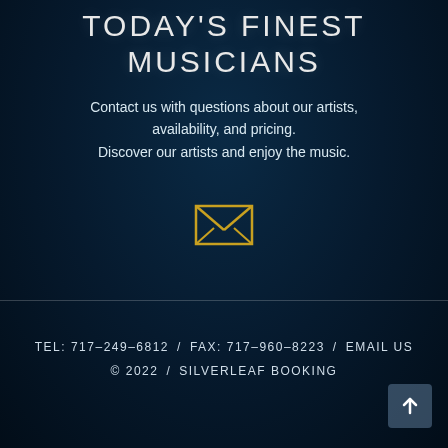TODAY'S FINEST MUSICIANS
Contact us with questions about our artists, availability, and pricing. Discover our artists and enjoy the music.
[Figure (illustration): Golden envelope/mail icon]
TEL: 717-249-6812 / FAX: 717-960-8223 / EMAIL US © 2022 / SILVERLEAF BOOKING